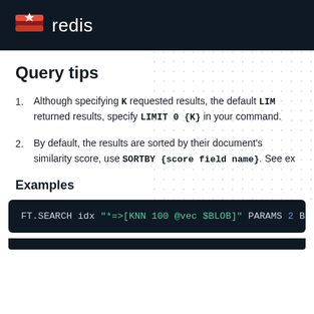redis
Query tips
Although specifying K requested results, the default LIMIT returned results, specify LIMIT 0 {K} in your command.
By default, the results are sorted by their document's similarity score, use SORTBY {score field name}. See ex
Examples
[Figure (screenshot): Code block showing: FT.SEARCH idx "*=>[KNN 100 @vec $BLOB]" PARAMS 2 BLO]